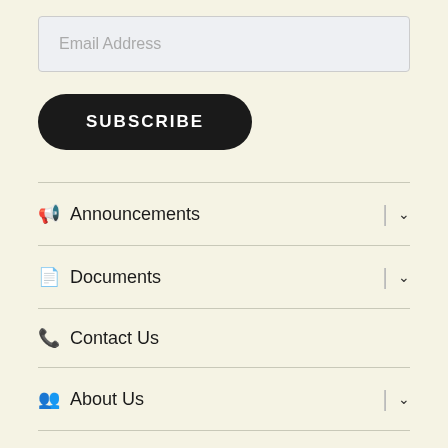Email Address
SUBSCRIBE
Announcements
Documents
Contact Us
About Us
eClaims